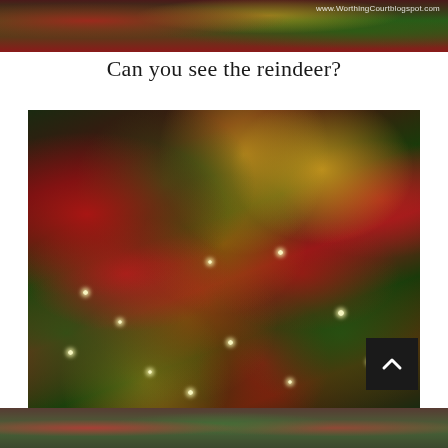[Figure (photo): Top portion of a decorated Christmas tree with red ribbons, ornaments, and gold flowers, partially cropped at top of page. Watermark reads www.WorthingCourtblogspot.com]
Can you see the reindeer?
[Figure (photo): Close-up of a decorated Christmas tree with red glittery reindeer ornaments, gold poinsettia flowers, red mesh ribbon, berry clusters, and small warm fairy lights. A scroll-to-top button with upward chevron is overlaid in the bottom right.]
[Figure (photo): Bottom strip of another Christmas scene, partially visible, showing red and green decorations.]